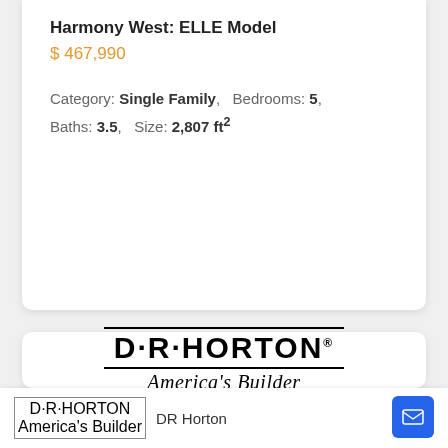Harmony West: ELLE Model
$ 467,990
Category: Single Family,   Bedrooms: 5,  Baths: 3.5,   Size: 2,807 ft²
[Figure (logo): D·R·HORTON America's Builder logo — large black block lettering with double horizontal rules, italic script tagline below]
[Figure (logo): Small D·R·Horton logo in footer]
DR Horton